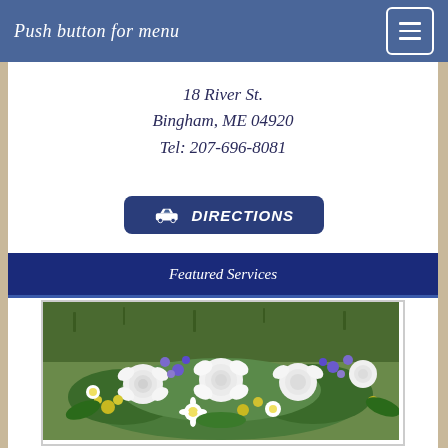Push button for menu
18 River St.
Bingham, ME 04920
Tel: 207-696-8081
[Figure (other): Dark blue/navy rounded button with a car icon and text reading DIRECTIONS in italic white caps]
Featured Services
[Figure (photo): Close-up photo of a floral arrangement with white roses, white daisies, yellow blooms, and purple hyacinths, set against a grassy background]